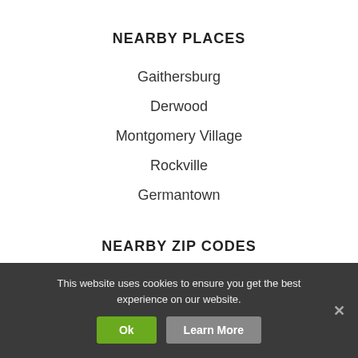NEARBY PLACES
Gaithersburg
Derwood
Montgomery Village
Rockville
Germantown
NEARBY ZIP CODES
20877
20898
20849
20874
This website uses cookies to ensure you get the best experience on our website.